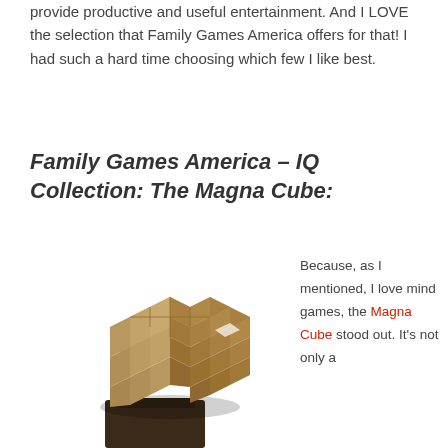provide productive and useful entertainment. And I LOVE the selection that Family Games America offers for that! I had such a hard time choosing which few I like best.
Family Games America – IQ Collection: The Magna Cube:
[Figure (photo): A wooden puzzle cube (Magna Cube) assembled from many small wooden blocks, sitting on a dark wooden stand. The puzzle is partially disassembled showing the interlocking pieces.]
Because, as I mentioned, I love mind games, the Magna Cube stood out. It's not only a